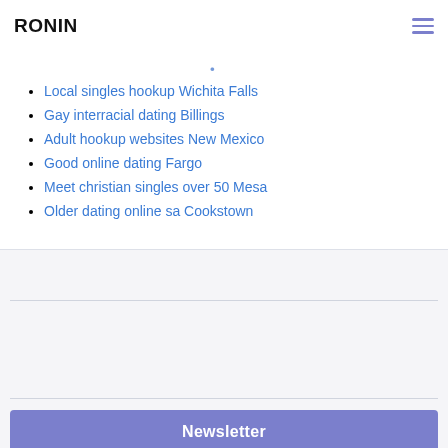RONIN
Local singles hookup Wichita Falls
Gay interracial dating Billings
Adult hookup websites New Mexico
Good online dating Fargo
Meet christian singles over 50 Mesa
Older dating online sa Cookstown
Newsletter